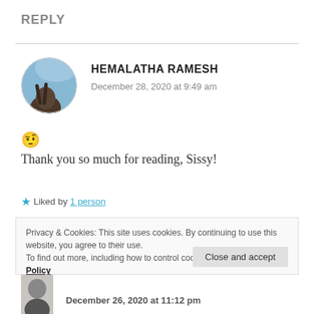REPLY
HEMALATHA RAMESH
December 28, 2020 at 9:49 am
[Figure (photo): Circular avatar photo of Hemalatha Ramesh with blue sky background and dark hair visible]
🤨 Thank you so much for reading, Sissy!
★ Liked by 1 person
Privacy & Cookies: This site uses cookies. By continuing to use this website, you agree to their use.
To find out more, including how to control cookies, see here: Cookie Policy
Close and accept
December 26, 2020 at 11:12 pm